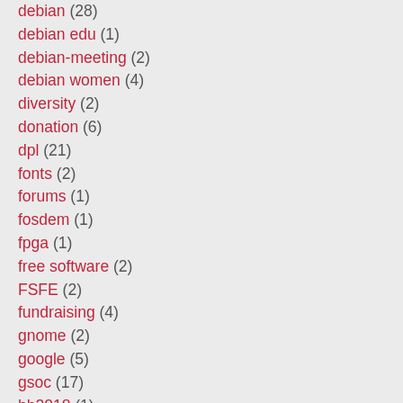debian (28)
debian edu (1)
debian-meeting (2)
debian women (4)
diversity (2)
donation (6)
dpl (21)
fonts (2)
forums (1)
fosdem (1)
fpga (1)
free software (2)
FSFE (2)
fundraising (4)
gnome (2)
google (5)
gsoc (17)
hh2018 (1)
HP (1)
HPE (3)
hurd (1)
i386 (1)
ian murdock (1)